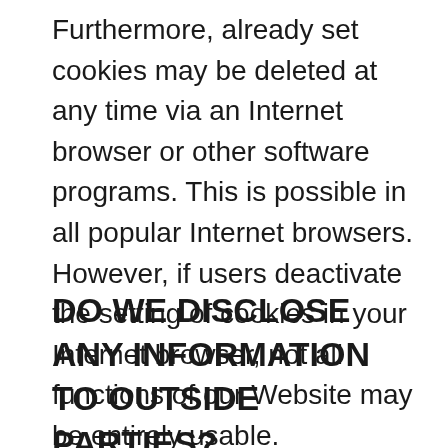Furthermore, already set cookies may be deleted at any time via an Internet browser or other software programs. This is possible in all popular Internet browsers. However, if users deactivate the setting of cookies in your Internet browser, not all functions of our Website may be entirely usable.
DO WE DISCLOSE ANY INFORMATION TO OUTSIDE PARTIES?